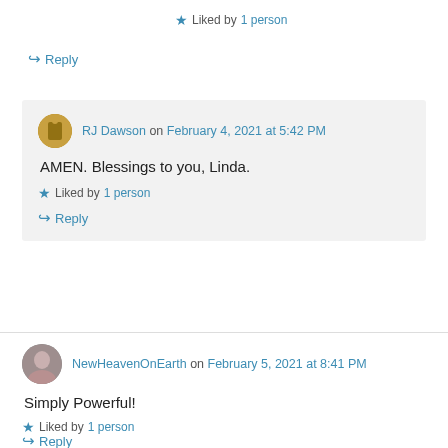★ Liked by 1 person
↪ Reply
RJ Dawson on February 4, 2021 at 5:42 PM
AMEN. Blessings to you, Linda.
★ Liked by 1 person
↪ Reply
NewHeavenOnEarth on February 5, 2021 at 8:41 PM
Simply Powerful!
★ Liked by 1 person
↪ Reply